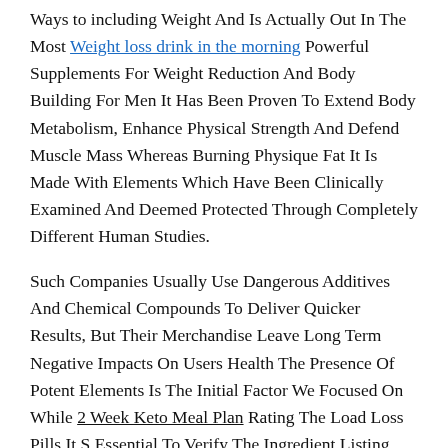Ways to including Weight And Is Actually Out In The Most Weight loss drink in the morning Powerful Supplements For Weight Reduction And Body Building For Men It Has Been Proven To Extend Body Metabolism, Enhance Physical Strength And Defend Muscle Mass Whereas Burning Physique Fat It Is Made With Elements Which Have Been Clinically Examined And Deemed Protected Through Completely Different Human Studies.
Such Companies Usually Use Dangerous Additives And Chemical Compounds To Deliver Quicker Results, But Their Merchandise Leave Long Term Negative Impacts On Users Health The Presence Of Potent Elements Is The Initial Factor We Focused On While 2 Week Keto Meal Plan Rating The Load Loss Pills It S Essential To Verify The Ingredient Listing Before Buying It To Gauge Its Benefits We Included The Products That We Found Potent In